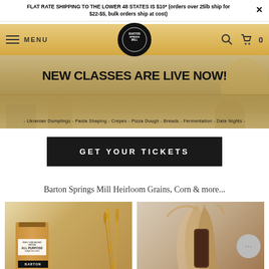FLAT RATE SHIPPING TO THE LOWER 48 STATES IS $10* (orders over 25lb ship for $22-$5, bulk orders ship at cost)
[Figure (screenshot): Navigation bar with hamburger menu, MENU text, Barton Springs Mill circular logo, search icon, and cart icon with 0 count, on a golden/tan background]
[Figure (photo): Hero banner showing a kitchen/classroom setting with wooden tables and chairs. Bold text overlay reads NEW CLASSES ARE LIVE NOW! with subtitle listing: Ukranian Dumplings - Pasta Shaping - Crepes - Pizza Dough - Breads - Fermentation - Date Nights]
NEW CLASSES ARE LIVE NOW!
- Ukranian Dumplings - Pasta Shaping - Crepes - Pizza Dough - Breads - Fermentation - Date Nights -
GET YOUR TICKETS
Barton Springs Mill Heirloom Grains, Corn & more...
[Figure (photo): Product photo showing a brown kraft paper flour bag labeled ALL PURPOSE with golden grain stalks in the background]
[Figure (photo): Product photo showing dried corn husks and kernels in tan/neutral tones]